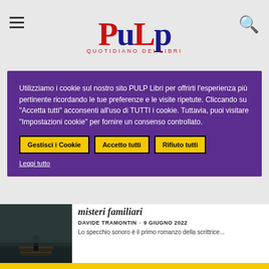PULP LIBRI - QUOTIDIANO DEI LIBRI
Utilizziamo i cookie sul nostro sito PULP Libri per offrirti l'esperienza più pertinente ricordando le tue preferenze e le visite ripetute. Cliccando su "Accetta tutti" acconsenti all'uso di TUTTI i cookie. Tuttavia, puoi visitare "Impostazioni cookie" per fornire un consenso controllato.
Gestisci i Cookie | Accetto tutti | Rifiuto tutti
Leggi tutto
[Figure (photo): Dark moody photo of a person standing on a dock near water at dusk]
misteri familiari
DAVIDE TRAMONTIN - 9 GIUGNO 2022
Lo specchio sonoro è il primo romanzo della scrittrice...